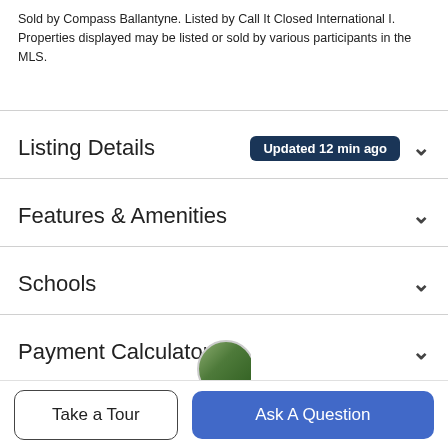Sold by Compass Ballantyne. Listed by Call It Closed International I. Properties displayed may be listed or sold by various participants in the MLS.
Listing Details
Features & Amenities
Schools
Payment Calculator
Contact Agent
Take a Tour
Ask A Question